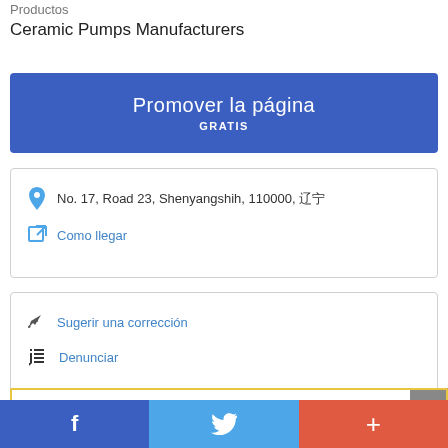Productos
Ceramic Pumps Manufacturers
Promover la página
GRATIS
No. 17, Road 23, Shenyangshih, 110000, 辽宁
Como llegar
Sugerir una corrección
Denunciar